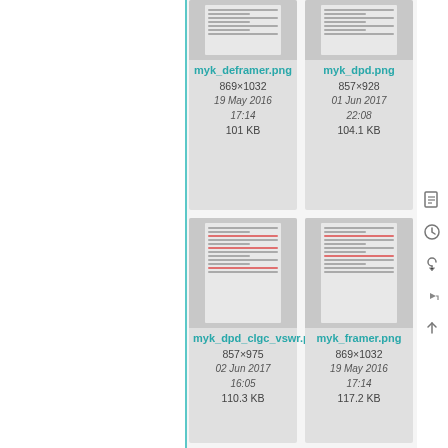[Figure (screenshot): File thumbnail for myk_deframer.png showing a document preview]
myk_deframer.png
869×1032
19 May 2016
17:14
101 KB
[Figure (screenshot): File thumbnail for myk_dpd.png showing a document preview]
myk_dpd.png
857×928
01 Jun 2017
22:08
104.1 KB
[Figure (screenshot): File thumbnail for myk_dpd_clgc_vswr.png showing a document preview]
myk_dpd_clgc_vswr.png
857×975
02 Jun 2017
16:05
110.3 KB
[Figure (screenshot): File thumbnail for myk_framer.png showing a document preview]
myk_framer.png
869×1032
19 May 2016
17:14
117.2 KB